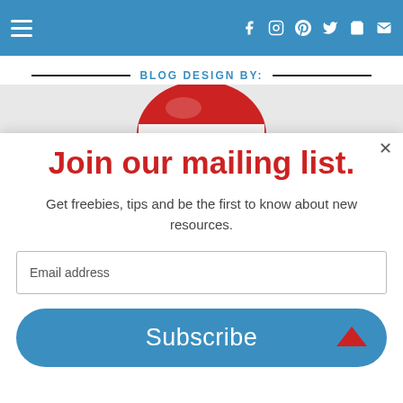Navigation bar with hamburger menu and social icons
BLOG DESIGN BY:
[Figure (illustration): Partial view of a red logo/image at the top of a modal overlay]
Join our mailing list.
Get freebies, tips and be the first to know about new resources.
Email address
Subscribe